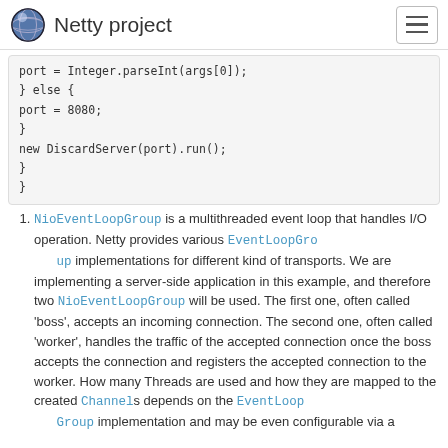Netty project
port = Integer.parseInt(args[0]);
        } else {
            port = 8080;
        }
        new DiscardServer(port).run();
    }
}
NioEventLoopGroup is a multithreaded event loop that handles I/O operation. Netty provides various EventLoopGroup implementations for different kind of transports. We are implementing a server-side application in this example, and therefore two NioEventLoopGroup will be used. The first one, often called 'boss', accepts an incoming connection. The second one, often called 'worker', handles the traffic of the accepted connection once the boss accepts the connection and registers the accepted connection to the worker. How many Threads are used and how they are mapped to the created Channels depends on the EventLoopGroup implementation and may be even configurable via a